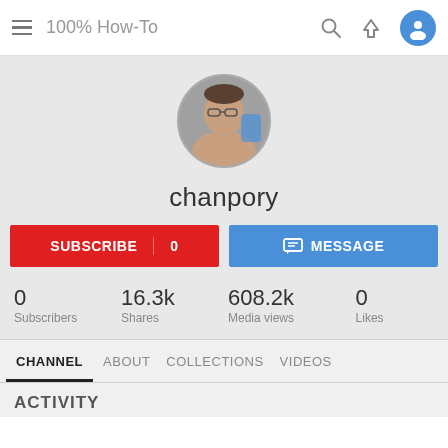100% How-To
[Figure (photo): Circular profile photo of a person wearing glasses]
chanpory
SUBSCRIBE  0
MESSAGE
0 Subscribers  16.3k Shares  608.2k Media views  0 Likes
CHANNEL  ABOUT  COLLECTIONS  VIDEOS
ACTIVITY